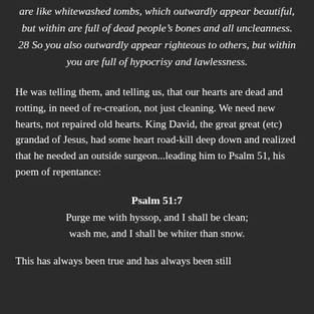are like whitewashed tombs, which outwardly appear beautiful, but within are full of dead people's bones and all uncleanness. 28 So you also outwardly appear righteous to others, but within you are full of hypocrisy and lawlessness.
He was telling them, and telling us, that our hearts are dead and rotting, in need of re-creation, not just cleaning. We need new hearts, not repaired old hearts. King David, the great great (etc) grandad of Jesus, had some heart road-kill deep down and realized that he needed an outside surgeon...leading him to Psalm 51, his poem of repentance:
Psalm 51:7
Purge me with hyssop, and I shall be clean; wash me, and I shall be whiter than snow.
This has always been true and has always been still